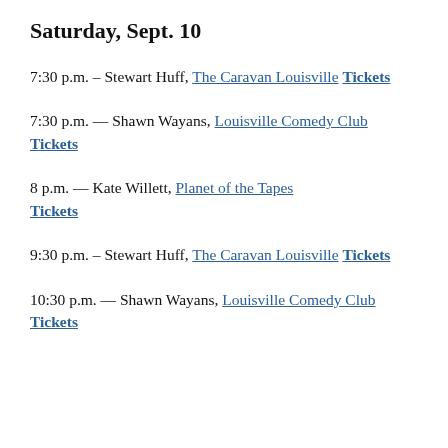Saturday, Sept. 10
7:30 p.m. – Stewart Huff, The Caravan Louisville Tickets
7:30 p.m. — Shawn Wayans, Louisville Comedy Club Tickets
8 p.m. — Kate Willett, Planet of the Tapes Tickets
9:30 p.m. – Stewart Huff, The Caravan Louisville Tickets
10:30 p.m. — Shawn Wayans, Louisville Comedy Club Tickets